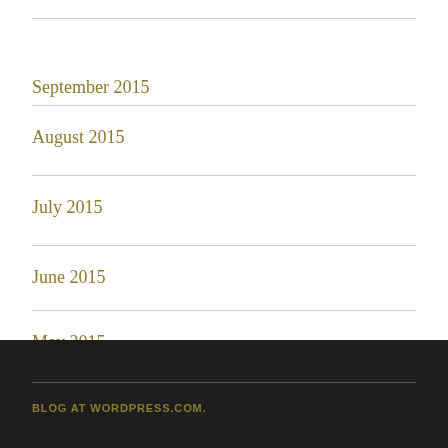September 2015
August 2015
July 2015
June 2015
May 2015
BLOG AT WORDPRESS.COM.